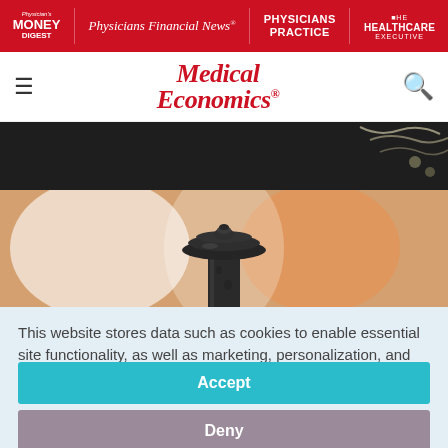Physician's Money Digest | Physicians Financial News | Physicians Practice | Healthcare Executive
Medical Economics
[Figure (photo): Close-up photograph of a dark metal post or fence finial with blurred orange/warm bokeh background and dark element at top.]
This website stores data such as cookies to enable essential site functionality, as well as marketing, personalization, and analytics. Cookie Policy
Accept
Deny